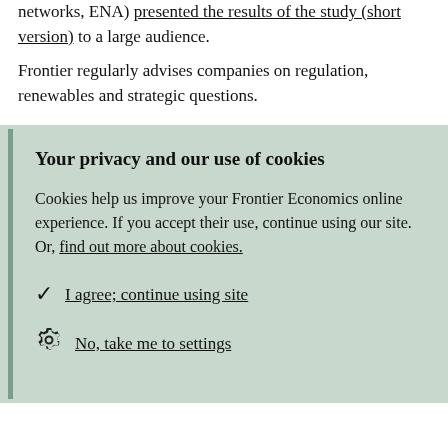networks, ENA) presented the results of the study (short version) to a large audience.
Frontier regularly advises companies on regulation, renewables and strategic questions.
Your privacy and our use of cookies
Cookies help us improve your Frontier Economics online experience. If you accept their use, continue using our site. Or, find out more about cookies.
I agree; continue using site
No, take me to settings